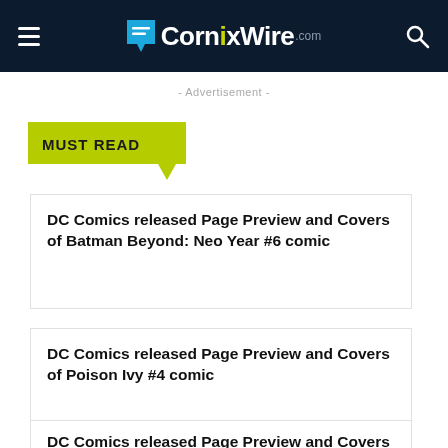CornixWire.com
- Advertisement -
MUST READ
DC Comics released Page Preview and Covers of Batman Beyond: Neo Year #6 comic
DC Comics released Page Preview and Covers of Poison Ivy #4 comic
DC Comics released Page Preview and Covers of